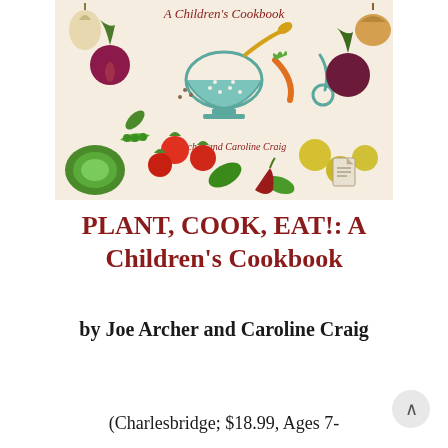[Figure (illustration): Book cover of 'Plant, Cook, Eat!: A Children's Cookbook' by Joe Archer and Caroline Craig, featuring colorful illustrated vegetables, fruits, a colander, and kitchen utensils on a cream background.]
PLANT, COOK, EAT!: A Children's Cookbook
by Joe Archer and Caroline Craig
(Charlesbridge; $18.99, Ages 7-